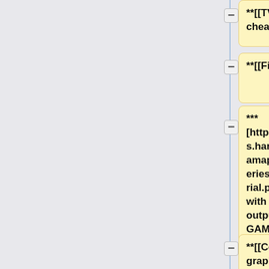**[[TVMAP cheat sheet]]
**[[File I/O with GAMAP]]
*** [http://acmg.seas.harvard.edu/gamap/doc/timeseries_brief_tutorial.pdf Working with timeseries output in GAMAP]
**[[Color and graphics with GAMAP]]
*** [http://acmg.seas.harvard.edu/geos/wiki_docs/g...